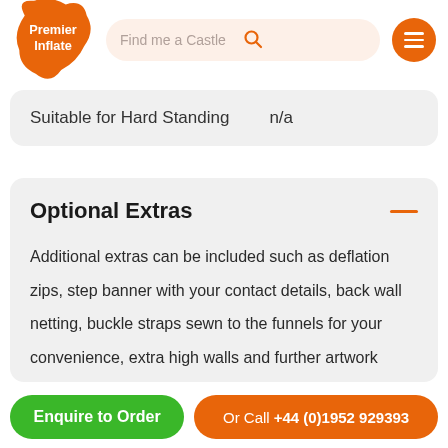[Figure (logo): Premier Inflate logo — orange teardrop/blob shape with white text 'Premier Inflate']
Find me a Castle
Suitable for Hard Standing    n/a
Optional Extras
Additional extras can be included such as deflation zips, step banner with your contact details, back wall netting, buckle straps sewn to the funnels for your convenience, extra high walls and further artwork added to the inside
Enquire to Order
Or Call +44 (0)1952 929393